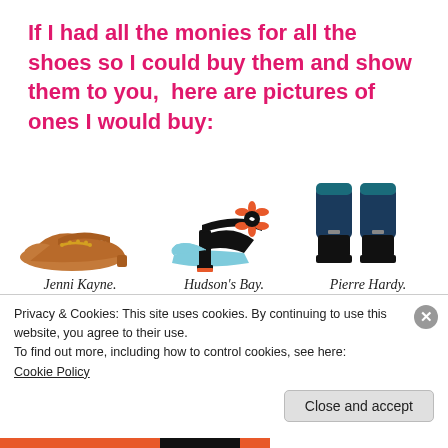If I had all the monies for all the shoes so I could buy them and show them to you,  here are pictures of ones I would buy:
[Figure (photo): Three pairs of shoes side by side: a tan leather flat with gold chain (Jenni Kayne), a black high heel sandal with orange flower appliqué and light blue sole (Hudson's Bay), and dark navy/black ankle boots (Pierre Hardy). Labels beneath each shoe.]
Privacy & Cookies: This site uses cookies. By continuing to use this website, you agree to their use.
To find out more, including how to control cookies, see here:
Cookie Policy
Close and accept